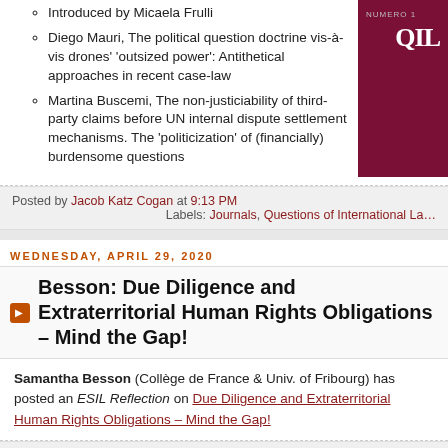Introduced by Micaela Frulli
Diego Mauri, The political question doctrine vis-à-vis drones' 'outsized power': Antithetical approaches in recent case-law
Martina Buscemi, The non-justiciability of third-party claims before UN internal dispute settlement mechanisms. The 'politicization' of (financially) burdensome questions
Posted by Jacob Katz Cogan at 9:13 PM
Labels: Journals, Questions of International La...
WEDNESDAY, APRIL 29, 2020
Besson: Due Diligence and Extraterritorial Human Rights Obligations – Mind the Gap!
Samantha Besson (Collège de France & Univ. of Fribourg) has posted an ESIL Reflection on Due Diligence and Extraterritorial Human Rights Obligations – Mind the Gap!
Posted by Jacob Katz Cogan at 8:21 AM
Labels: Due Diligence, ESIL Reflections, Human Ri...